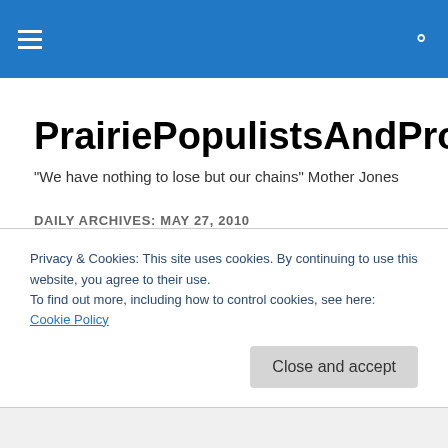PrairiePopulistsAndProgressives.net header bar
PrairiePopulistsAndProgressives.net
"We have nothing to lose but our chains" Mother Jones
DAILY ARCHIVES: MAY 27, 2010
Midgets, Molly, Men and Bit of
Privacy & Cookies: This site uses cookies. By continuing to use this website, you agree to their use.
To find out more, including how to control cookies, see here: Cookie Policy
Close and accept